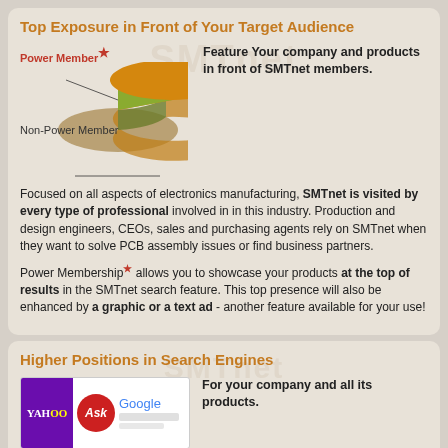Top Exposure in Front of Your Target Audience
[Figure (pie-chart): Power Member vs Non-Power Member]
Feature Your company and products in front of SMTnet members.
Focused on all aspects of electronics manufacturing, SMTnet is visited by every type of professional involved in in this industry. Production and design engineers, CEOs, sales and purchasing agents rely on SMTnet when they want to solve PCB assembly issues or find business partners.
Power Membership* allows you to showcase your products at the top of results in the SMTnet search feature. This top presence will also be enhanced by a graphic or a text ad - another feature available for your use!
Higher Positions in Search Engines
[Figure (screenshot): Screenshot showing Yahoo, Ask, Google, and Bing search engine logos]
For your company and all its products.